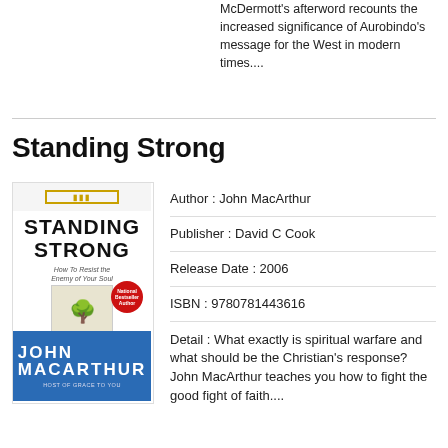McDermott's afterword recounts the increased significance of Aurobindo's message for the West in modern times....
Standing Strong
[Figure (illustration): Book cover of 'Standing Strong' by John MacArthur, published by David C Cook. Cover shows the title in bold black uppercase text on white background, a tree image, a red circular badge, and a blue bottom section with the author's name in white uppercase letters.]
| Author : John MacArthur |
| Publisher : David C Cook |
| Release Date : 2006 |
| ISBN : 9780781443616 |
| Detail : What exactly is spiritual warfare and what should be the Christian's response? John MacArthur teaches you how to fight the good fight of faith.... |